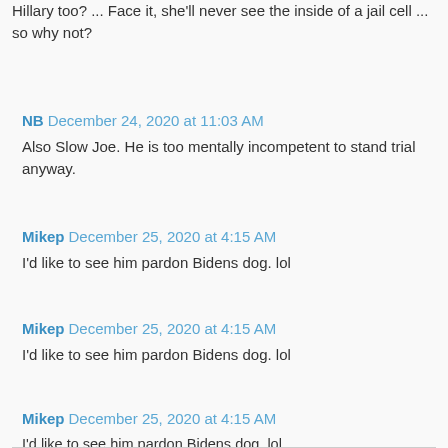Hillary too? ... Face it, she'll never see the inside of a jail cell ... so why not?
NB December 24, 2020 at 11:03 AM
Also Slow Joe. He is too mentally incompetent to stand trial anyway.
Mikep December 25, 2020 at 4:15 AM
I'd like to see him pardon Bidens dog. lol
Mikep December 25, 2020 at 4:15 AM
I'd like to see him pardon Bidens dog. lol
Mikep December 25, 2020 at 4:15 AM
I'd like to see him pardon Bidens dog. lol